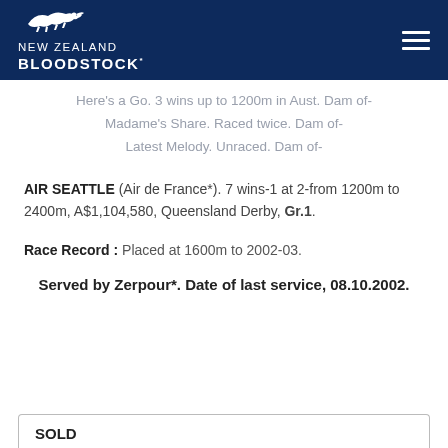NEW ZEALAND BLOODSTOCK
Here's a Go. 3 wins up to 1200m in Aust. Dam of- Madame's Share. Raced twice. Dam of- Latest Melody. Unraced. Dam of-
AIR SEATTLE (Air de France*). 7 wins-1 at 2-from 1200m to 2400m, A$1,104,580, Queensland Derby, Gr.1.
Race Record : Placed at 1600m to 2002-03.
Served by Zerpour*. Date of last service, 08.10.2002.
SOLD